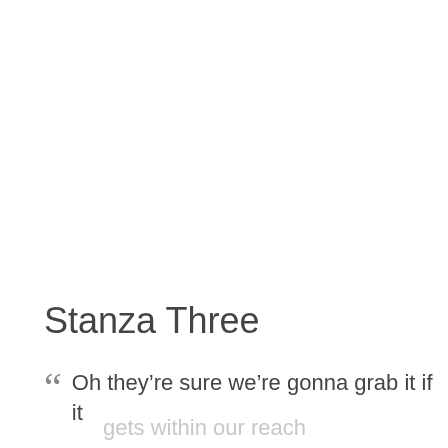Stanza Three
““  Oh they’re sure we’re gonna grab it if it gets within our reach